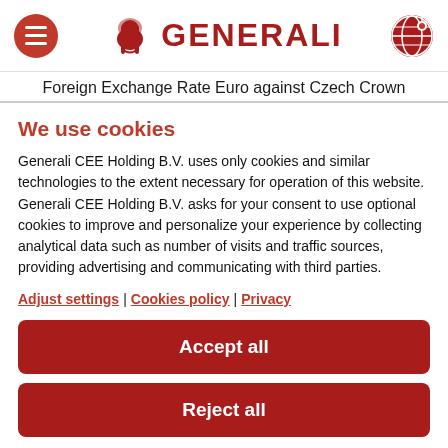Foreign Exchange Rate Euro against Czech Crown
We use cookies
Generali CEE Holding B.V. uses only cookies and similar technologies to the extent necessary for operation of this website. Generali CEE Holding B.V. asks for your consent to use optional cookies to improve and personalize your experience by collecting analytical data such as number of visits and traffic sources, providing advertising and communicating with third parties.
Adjust settings | Cookies policy | Privacy
Accept all
Reject all